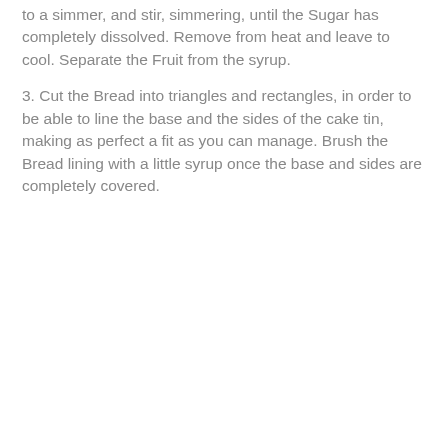to a simmer, and stir, simmering, until the Sugar has completely dissolved. Remove from heat and leave to cool. Separate the Fruit from the syrup.
3. Cut the Bread into triangles and rectangles, in order to be able to line the base and the sides of the cake tin, making as perfect a fit as you can manage. Brush the Bread lining with a little syrup once the base and sides are completely covered.